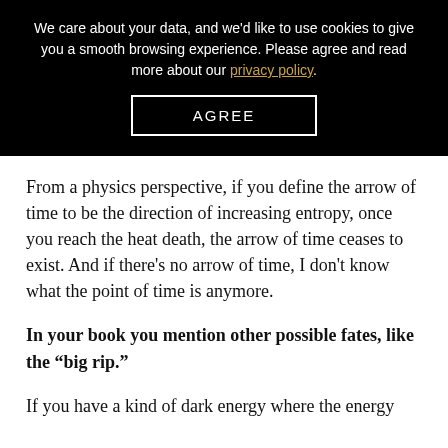We care about your data, and we'd like to use cookies to give you a smooth browsing experience. Please agree and read more about our privacy policy.
AGREE
From a physics perspective, if you define the arrow of time to be the direction of increasing entropy, once you reach the heat death, the arrow of time ceases to exist. And if there's no arrow of time, I don't know what the point of time is anymore.
In your book you mention other possible fates, like the “big rip.”
If you have a kind of dark energy where the energy